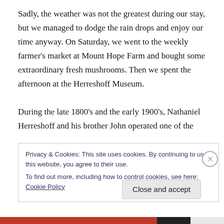Sadly, the weather was not the greatest during our stay, but we managed to dodge the rain drops and enjoy our time anyway. On Saturday, we went to the weekly farmer's market at Mount Hope Farm and bought some extraordinary fresh mushrooms. Then we spent the afternoon at the Herreshoff Museum.

During the late 1800's and the early 1900's, Nathaniel Herreshoff and his brother John operated one of the
Privacy & Cookies: This site uses cookies. By continuing to use this website, you agree to their use.
To find out more, including how to control cookies, see here: Cookie Policy
Close and accept